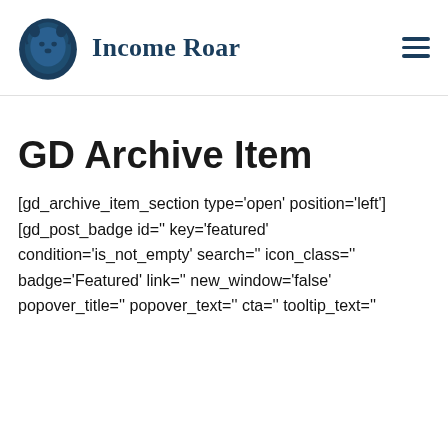Income Roar
GD Archive Item
[gd_archive_item_section type='open' position='left'] [gd_post_badge id='' key='featured' condition='is_not_empty' search='' icon_class='' badge='Featured' link='' new_window='false' popover_title='' popover_text='' cta='' tooltip_text=''